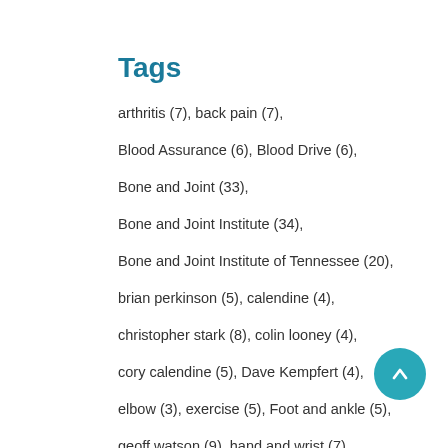Tags
arthritis (7), back pain (7),
Blood Assurance (6), Blood Drive (6),
Bone and Joint (33),
Bone and Joint Institute (34),
Bone and Joint Institute of Tennessee (20),
brian perkinson (5), calendine (4),
christopher stark (8), colin looney (4),
cory calendine (5), Dave Kempfert (4),
elbow (3), exercise (5), Foot and ankle (5),
geoff watson (9), hand and wrist (7),
ian byram (5), jeffrey kutsikovich (6),
john klekamp (4), mcnamara (6),